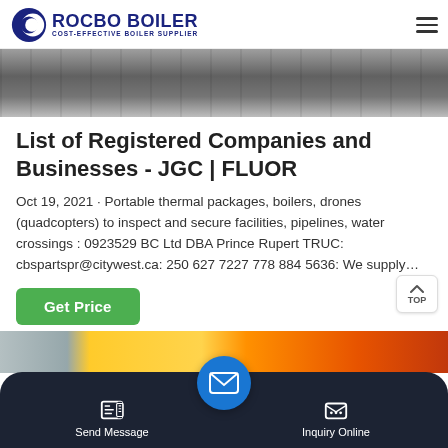ROCBO BOILER - COST-EFFECTIVE BOILER SUPPLIER
[Figure (photo): Industrial floor/facility photo strip at top of page]
List of Registered Companies and Businesses - JGC | FLUOR
Oct 19, 2021 · Portable thermal packages, boilers, drones (quadcopters) to inspect and secure facilities, pipelines, water crossings : 0923529 BC Ltd DBA Prince Rupert TRUC: cbspartspr@citywest.ca: 250 627 7227 778 884 5636: We supply…
[Figure (photo): Bottom industrial/equipment photo strip]
Send Message | Inquiry Online